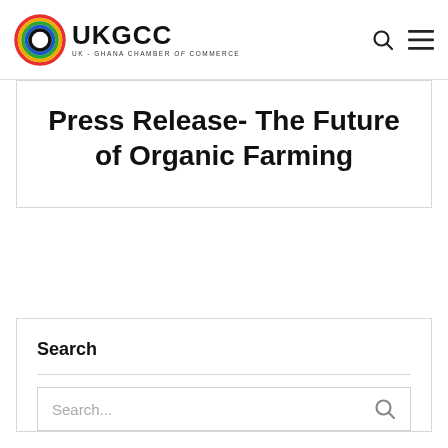UKGCC - UK Ghana Chamber of Commerce
Press Release- The Future of Organic Farming
Search
Search...